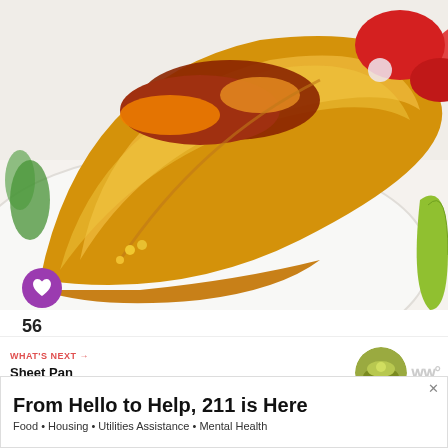[Figure (photo): Close-up photo of a birria-style taco on a white speckled plate. The taco shell is golden-brown and crispy, filled with red braised meat, melted orange cheese, and topped with colorful pico de gallo (diced tomatoes, onion, cilantro). Green herbs visible on the left. A lime wedge is partially visible on the right. Marble surface background.]
56
[Figure (photo): Thumbnail circle image of a Sheet Pan Chipotle dish with a green herb garnish.]
WHAT'S NEXT → Sheet Pan Chipotle...
[Figure (advertisement): Blue banner advertisement with yellow stylized text in a bold italic font partially visible.]
From Hello to Help, 211 is Here
Food • Housing • Utilities Assistance • Mental Health